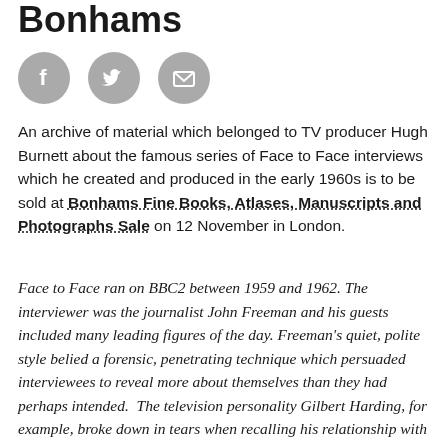Bonhams
[Figure (illustration): Three grey circular social media/share icons: Facebook (f), Twitter (bird), and Email (envelope)]
An archive of material which belonged to TV producer Hugh Burnett about the famous series of Face to Face interviews which he created and produced in the early 1960s is to be sold at Bonhams Fine Books, Atlases, Manuscripts and Photographs Sale on 12 November in London.
Face to Face ran on BBC2 between 1959 and 1962. The interviewer was the journalist John Freeman and his guests included many leading figures of the day. Freeman's quiet, polite style belied a forensic, penetrating technique which persuaded interviewees to reveal more about themselves than they had perhaps intended. The television personality Gilbert Harding, for example, broke down in tears when recalling his relationship with his